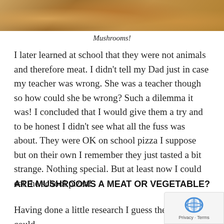[Figure (photo): Photo of mushrooms with warm golden-brown tones at the top of the page]
Mushrooms!
I later learned at school that they were not animals and therefore meat.  I didn't tell my Dad just in case my teacher was wrong.  She was a teacher though so how could she be wrong? Such a dilemma it was!  I concluded that I would give them a try and to be honest I didn't see what all the fuss was about.  They were OK on school pizza I suppose but on their own I remember they just tasted a bit strange.  Nothing special.  But at least now I could eat the school pizza!
ARE MUSHROOMS A MEAT OR VEGETABLE?
Having done a little research I guess they really could